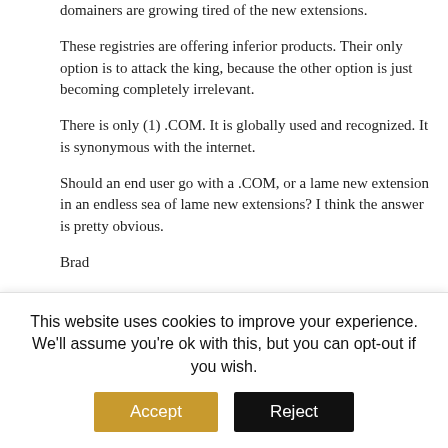domainers are growing tired of the new extensions.
These registries are offering inferior products. Their only option is to attack the king, because the other option is just becoming completely irrelevant.
There is only (1) .COM. It is globally used and recognized. It is synonymous with the internet.
Should an end user go with a .COM, or a lame new extension in an endless sea of lame new extensions? I think the answer is pretty obvious.
Brad
Reply
[Figure (photo): Avatar photo of Konstantinos Zournas]
Konstantinos Zournas
This website uses cookies to improve your experience. We'll assume you're ok with this, but you can opt-out if you wish.
Accept
Reject